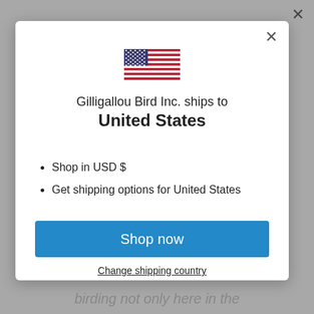[Figure (illustration): US flag emoji / SVG illustration centered at top of modal]
Gilligallou Bird Inc. ships to United States
Shop in USD $
Get shipping options for United States
Shop now
Change shipping country
birding not only here in the